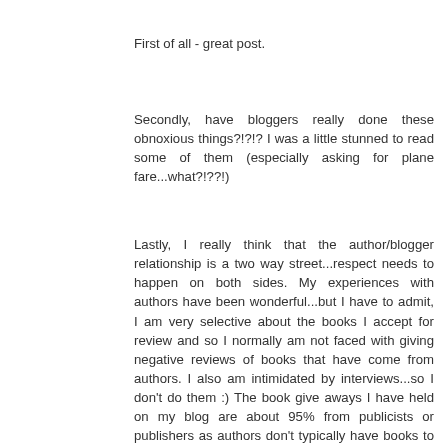First of all - great post.
Secondly, have bloggers really done these obnoxious things?!?!? I was a little stunned to read some of them (especially asking for plane fare...what?!??!)
Lastly, I really think that the author/blogger relationship is a two way street...respect needs to happen on both sides. My experiences with authors have been wonderful...but I have to admit, I am very selective about the books I accept for review and so I normally am not faced with giving negative reviews of books that have come from authors. I also am intimidated by interviews...so I don't do them :) The book give aways I have held on my blog are about 95% from publicists or publishers as authors don't typically have books to giveaway...and except for my Reading for a Cure project, I have never requested books for giveaway (they have always been offered). I also don't usually give away books I haven't read and reviewed first.
That all said...it makes me really sad to think there are bloggers out there who are doing some of the things you...